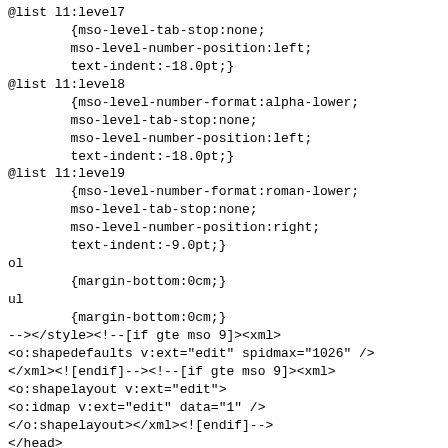@list l1:level7 (partial)
    {mso-level-tab-stop:none;
    mso-level-number-position:left;
    text-indent:-18.0pt;}
@list l1:level8
        {mso-level-number-format:alpha-lower;
        mso-level-tab-stop:none;
        mso-level-number-position:left;
        text-indent:-18.0pt;}
@list l1:level9
        {mso-level-number-format:roman-lower;
        mso-level-tab-stop:none;
        mso-level-number-position:right;
        text-indent:-9.0pt;}
ol
        {margin-bottom:0cm;}
ul
        {margin-bottom:0cm;}
--></style><!--[if gte mso 9]><xml>
<o:shapedefaults v:ext="edit" spidmax="1026" />
</xml><![endif]--><!--[if gte mso 9]><xml>
<o:shapelayout v:ext="edit">
<o:idmap v:ext="edit" data="1" />
</o:shapelayout></xml><![endif]-->
</head>
<body lang="EN-CA" link="blue" vlink="purple">
<div class="WordSection1">
<p class="MsoNormal"><span style="font-size:11.0pt;font-family:&quot;Calibri&quot;,sans-serif;color:black"><o:p>&nbsp;</o:p></span></p>
<p class="MsoNormal"><span style="font-